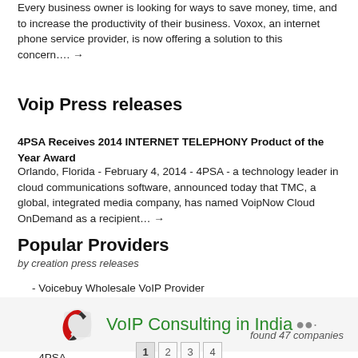Every business owner is looking for ways to save money, time, and to increase the productivity of their business. Voxox, an internet phone service provider, is now offering a solution to this concern…. →
Voip Press releases
4PSA Receives 2014 INTERNET TELEPHONY Product of the Year Award
Orlando, Florida - February 4, 2014 - 4PSA - a technology leader in cloud communications software, announced today that TMC, a global, integrated media company, has named VoipNow Cloud OnDemand as a recipient… →
Popular Providers
by creation press releases
- Voicebuy Wholesale VoIP Provider
- Polycom Inc
- Huawei Technologies
- Super Technologies Inc.
- 4PSA
[Figure (infographic): VoIP Consulting in India advertisement with phone icon and ellipsis dots]
found 47 companies
1 2 3 4